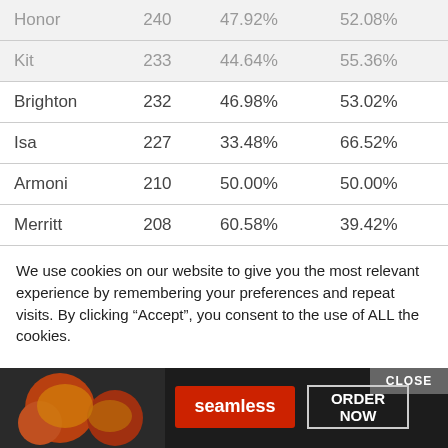| Name | Count | Pct1 | Pct2 |
| --- | --- | --- | --- |
| Honor | 240 | 47.92% | 52.08% |
| Kit | 233 | 44.64% | 55.36% |
| Brighton | 232 | 46.98% | 53.02% |
| Isa | 227 | 33.48% | 66.52% |
| Armoni | 210 | 50.00% | 50.00% |
| Merritt | 208 | 60.58% | 39.42% |
We use cookies on our website to give you the most relevant experience by remembering your preferences and repeat visits. By clicking “Accept”, you consent to the use of ALL the cookies.
Do not sell my personal information.
[Figure (screenshot): Bottom advertisement bar with pizza image, Seamless logo badge, and ORDER NOW button with CLOSE button at top right]